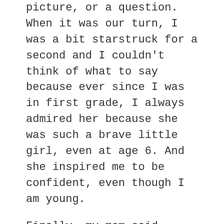picture, or a question. When it was our turn, I was a bit starstruck for a second and I couldn't think of what to say because ever since I was in first grade, I always admired her because she was such a brave little girl, even at age 6. And she inspired me to be confident, even though I am young.
Finally, my mom said, “Come on, Elena,” and I asked Ruby Bridges if I could take a picture of her.  Then my mom took a picture of me with her. And I gave her an Elena Reads bookmark. IT WAS AWESOME!!!!
Then she did her speech. It gets 4 out of 4 roses!
I already knew some of the stuff in her speech because my first grade teacher told us about her. Also, I saw the